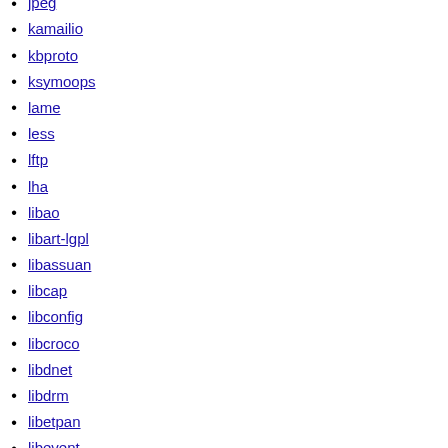jpeg
kamailio
kbproto
ksymoops
lame
less
lftp
lha
libao
libart-lgpl
libassuan
libcap
libconfig
libcroco
libdnet
libdrm
libetpan
libevent
libexif
libffi
libfontenc
libgcrypt
libglade
libgpg-error
libgcf